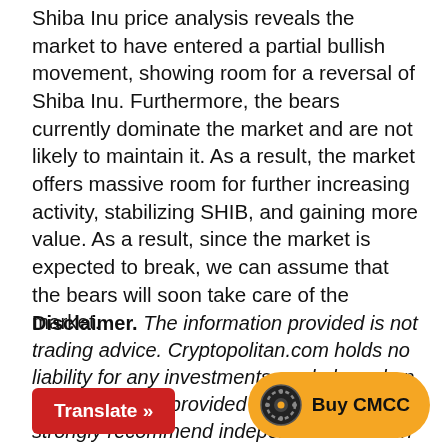Shiba Inu price analysis reveals the market to have entered a partial bullish movement, showing room for a reversal of Shiba Inu. Furthermore, the bears currently dominate the market and are not likely to maintain it. As a result, the market offers massive room for further increasing activity, stabilizing SHIB, and gaining more value. As a result, since the market is expected to break, we can assume that the bears will soon take care of the market.
Disclaimer. The information provided is not trading advice. Cryptopolitan.com holds no liability for any investments made based on the information provided on this page. We strongly recommend independent research and/or consultation with a qualified professional before making any inve...